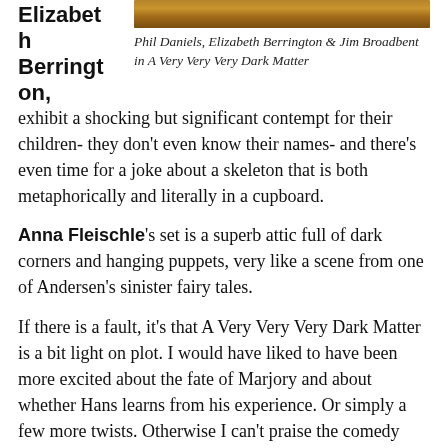[Figure (photo): A cropped photograph of a scene from A Very Very Very Dark Matter, showing warm amber/golden tones.]
Phil Daniels, Elizabeth Berrington & Jim Broadbent in A Very Very Very Dark Matter
Elizabeth Berrington,
exhibit a shocking but significant contempt for their children- they don't even know their names- and there's even time for a joke about a skeleton that is both metaphorically and literally in a cupboard.
Anna Fleischle's set is a superb attic full of dark corners and hanging puppets, very like a scene from one of Andersen's sinister fairy tales.
If there is a fault, it's that A Very Very Very Dark Matter is a bit light on plot. I would have liked to have been more excited about the fate of Marjory and about whether Hans learns from his experience. Or simply a few more twists. Otherwise I can't praise the comedy